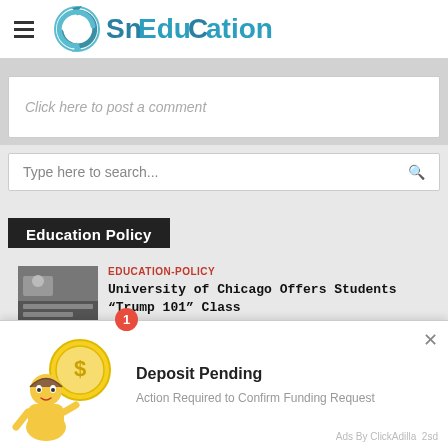SnEduCation
Click here to post a comment
Type here to search...
Education Policy
EDUCATION-POLICY
University of Chicago Offers Students “Trump 101” Class
This we... assum...
[Figure (screenshot): Ad overlay popup: Deposit Pending - Action Required to Confirm Funding Request. Ads By ClickAdilla 2sd]